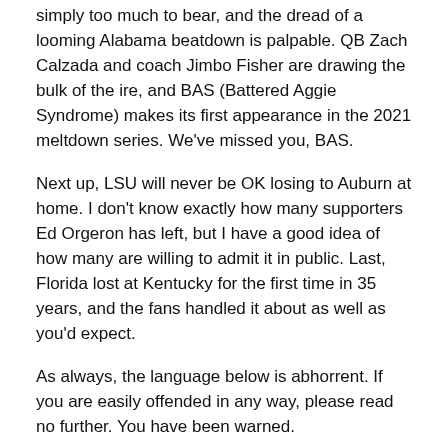simply too much to bear, and the dread of a looming Alabama beatdown is palpable. QB Zach Calzada and coach Jimbo Fisher are drawing the bulk of the ire, and BAS (Battered Aggie Syndrome) makes its first appearance in the 2021 meltdown series. We've missed you, BAS.
Next up, LSU will never be OK losing to Auburn at home. I don't know exactly how many supporters Ed Orgeron has left, but I have a good idea of how many are willing to admit it in public. Last, Florida lost at Kentucky for the first time in 35 years, and the fans handled it about as well as you'd expect.
As always, the language below is abhorrent. If you are easily offended in any way, please read no further. You have been warned.